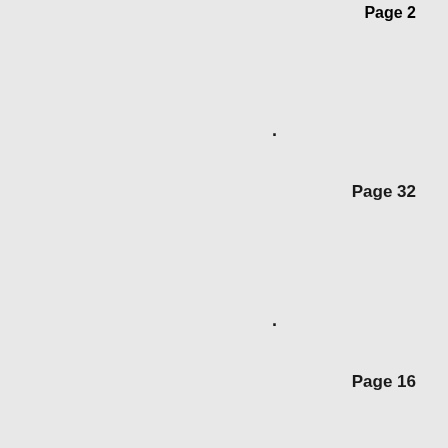Page 2
.
Page 32
.
Page 16
.
Page 16
.
Page 16
.
Page 15